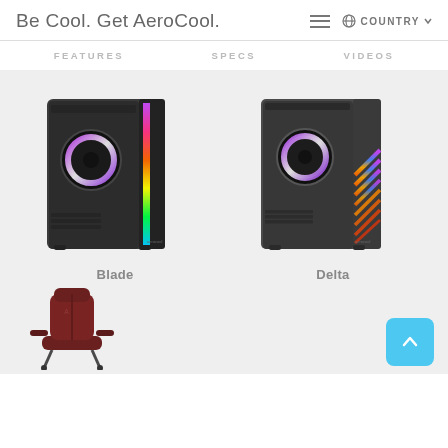Be Cool. Get AeroCool.
FEATURES   SPECS   VIDEOS
[Figure (photo): AeroCool Blade PC case with RGB lighting strip on the front right panel, black color, tempered glass side panel showing an RGB fan inside]
Blade
[Figure (photo): AeroCool Delta PC case with diagonal RGB lighting strips on the front right panel, dark gray color, tempered glass side panel showing an RGB fan inside]
Delta
[Figure (photo): Partial view of a dark red/maroon gaming chair with AeroCool branding]